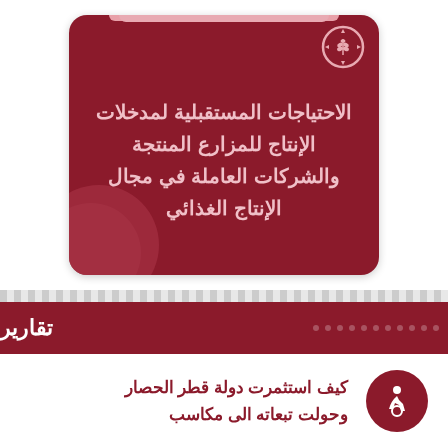[Figure (illustration): Dark red rounded card with wheat and gear icon in top right corner, containing Arabic text about future production input needs for productive farms and food production companies]
الاحتياجات المستقبلية لمدخلات الإنتاج للمزارع المنتجة والشركات العاملة في مجال الإنتاج الغذائي
تقارير
كيف استثمرت دولة قطر الحصار وحولت تبعاته الى مكاسب